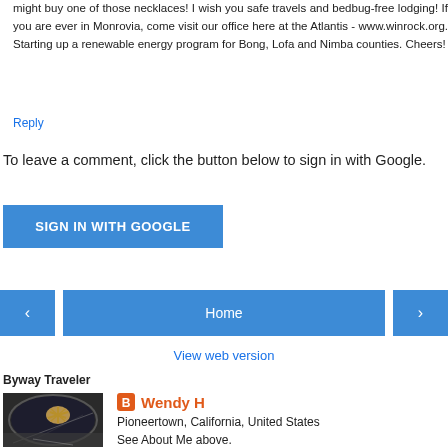might buy one of those necklaces! I wish you safe travels and bedbug-free lodging! If you are ever in Monrovia, come visit our office here at the Atlantis - www.winrock.org. Starting up a renewable energy program for Bong, Lofa and Nimba counties. Cheers!
Reply
To leave a comment, click the button below to sign in with Google.
SIGN IN WITH GOOGLE
Home
View web version
Byway Traveler
[Figure (photo): Profile photo showing a car side mirror with a starfish or plant reflected, taken on a road]
Wendy H
Pioneertown, California, United States
See About Me above.